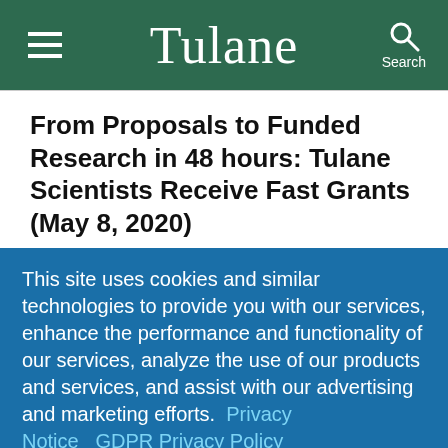Tulane
From Proposals to Funded Research in 48 hours: Tulane Scientists Receive Fast Grants (May 8, 2020)
[Figure (photo): Photo of Tulane scientists, partially visible, with green foliage background. Credit: Mairi]
Mairi
This site uses cookies and similar technologies to provide you with our services, enhance the performance and functionality of our services, analyze the use of our products and services, and assist with our advertising and marketing efforts.  Privacy Notice  GDPR Privacy Policy
ACCEPT   Decline